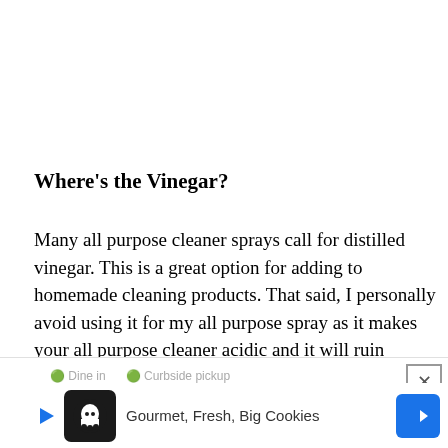Where's the Vinegar?
Many all purpose cleaner sprays call for distilled vinegar. This is a great option for adding to homemade cleaning products. That said, I personally avoid using it for my all purpose spray as it makes your all purpose cleaner acidic and it will ruin granite or marble surfaces by permanently etching them. Oftentimes stone floor tiles will also be affected by an acid like lemon juice or vinegar. Finally, I don't love that it smells like I pickled my whole h...
[Figure (screenshot): Advertisement banner at bottom of page showing a cookie delivery service ad with play button, cookie icon, 'Gourmet, Fresh, Big Cookies' text, navigation arrow icon, and a close (X) button]